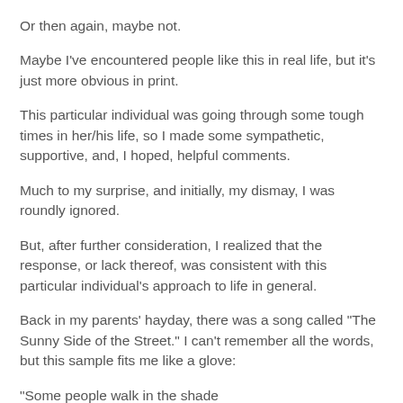Or then again, maybe not.
Maybe I've encountered people like this in real life, but it's just more obvious in print.
This particular individual was going through some tough times in her/his life, so I made some sympathetic, supportive, and, I hoped, helpful comments.
Much to my surprise, and initially, my dismay, I was roundly ignored.
But, after further consideration, I realized that the response, or lack thereof, was consistent with this particular individual's approach to life in general.
Back in my parents' hayday, there was a song called "The Sunny Side of the Street." I can't remember all the words, but this sample fits me like a glove:
"Some people walk in the shade
with their kids on a school..."